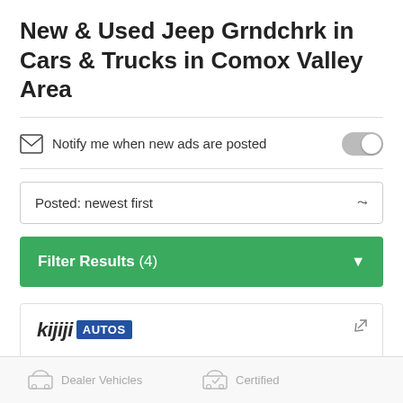New & Used Jeep Grndchrk in Cars & Trucks in Comox Valley Area
Notify me when new ads are posted
Posted: newest first
Filter Results (4)
[Figure (logo): Kijiji AUTOS logo with blue AUTOS badge]
Searching for a new or certified pre-owned Jeep Grand Cherokee? Take your search to Kijiji Autos.
Dealer Vehicles    Certified